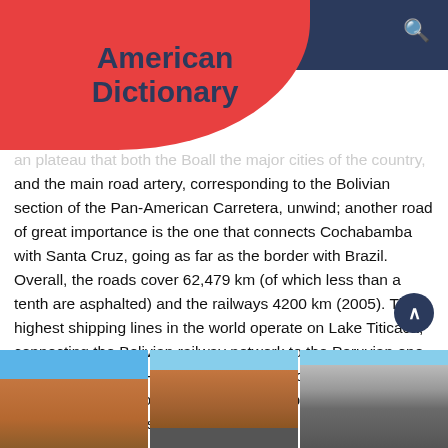American Dictionary
an plateau that both the Bo... all the major cities of the country, and the main road artery, corresponding to the Bolivian section of the Pan-American Carretera, unwind; another road of great importance is the one that connects Cochabamba with Santa Cruz, going as far as the border with Brazil. Overall, the roads cover 62,479 km (of which less than a tenth are asphalted) and the railways 4200 km (2005). The highest shipping lines in the world operate on Lake Titicaca, connecting the Bolivian railway network to the Peruvian one by means of a ferry-boat service ; the air communication routes use the airports of La Paz, Cochabamba, Santa Cruz and Oruro as main stopovers.
[Figure (photo): Three photos of Bolivian cities showing urban landscapes with mountains in the background]